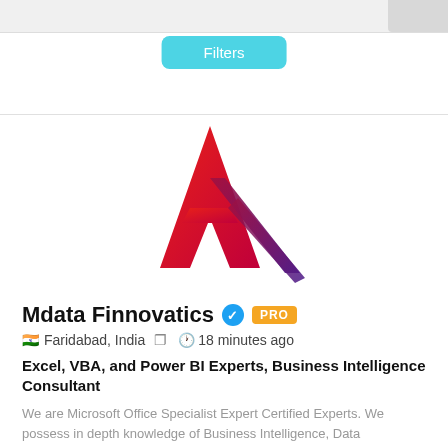Filters
[Figure (logo): Mdata Finnovatics logo — stylized letter A in red gradient with angular slash marks in purple/maroon gradient]
Mdata Finnovatics  ✓  PRO
🇮🇳 Faridabad, India   ⊞   🕐 18 minutes ago
Excel, VBA, and Power BI Experts, Business Intelligence Consultant
We are Microsoft Office Specialist Expert Certified Experts. We possess in depth knowledge of Business Intelligence, Data Automation, and Data Analytics. We do...
Jquery
Python
Data Entry
Sql
+9 More
$ 15/hr